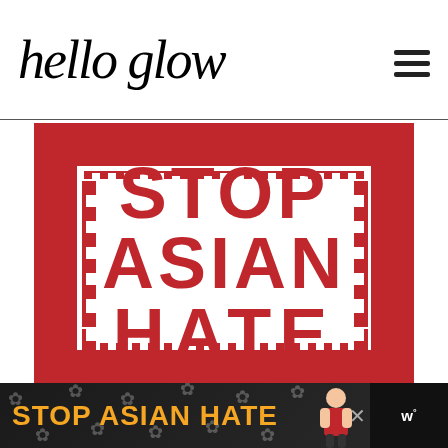hello glow
[Figure (illustration): Stop Asian Hate sign: red rectangular border with Greek-key/meander pattern on inner edge, bold red serif uppercase text reading ASIAN HATE (with STOP implied above, partially cropped), white background inside the border.]
[Figure (illustration): Advertisement banner at bottom: dark background with white flower/sakura decorations, bold orange text reading STOP ASIAN HATE, cartoon Asian woman figure on right, close button X, and small logo on far right reading 'w' with superscript degree symbol.]